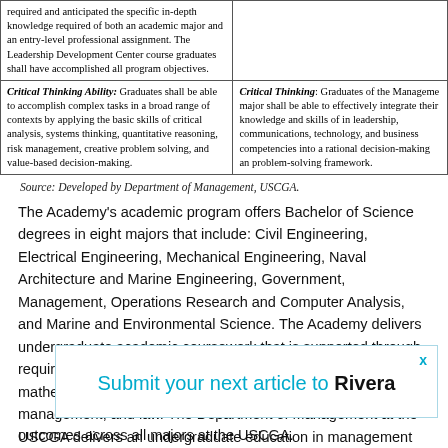|  |  |
| --- | --- |
| required and anticipated the specific in-depth knowledge required of both an academic major and an entry-level professional assignment. The Leadership Development Center course graduates shall have accomplished all program objectives. |  |
| Critical Thinking Ability: Graduates shall be able to accomplish complex tasks in a broad range of contexts by applying the basic skills of critical analysis, systems thinking, quantitative reasoning, risk management, creative problem solving, and value-based decision-making. | Critical Thinking: Graduates of the Management major shall be able to effectively integrate their knowledge and skills of in leadership, communications, technology, and business competencies into a rational decision-making and problem-solving framework. |
Source: Developed by Department of Management, USCGA.
The Academy's academic program offers Bachelor of Science degrees in eight majors that include: Civil Engineering, Electrical Engineering, Mechanical Engineering, Naval Architecture and Marine Engineering, Government, Management, Operations Research and Computer Analysis, and Marine and Environmental Science. The Academy delivers undergraduate academic coursework that is supported through required courses within humanities, science, engineering, mathematics, maritime studies, organizational behavior, management, and law. The Department of Management at the USCGA delivers an undergraduate education in management where Management majors are expected to develop and critically... illustrates... outcomes across all majors at the USCGA.